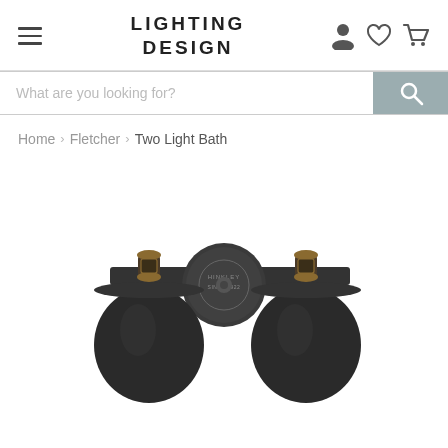LIGHTING DESIGN
What are you looking for?
Home > Fletcher > Two Light Bath
[Figure (photo): Two-light bathroom vanity bar fixture by Hinkley (Since 1922). Dark/black finish bar with two sockets fitted with aged brass/antique brass colored lamp holders and dark round globe shades. Circular center mounting plate with Hinkley logo embossed. Product shown from front/below angle.]